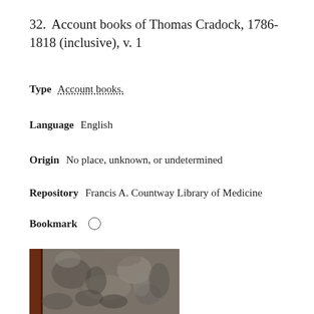32.  Account books of Thomas Cradock, 1786-1818 (inclusive), v. 1
Type   Account books.
Language   English
Origin   No place, unknown, or undetermined
Repository   Francis A. Countway Library of Medicine
Bookmark   ○
[Figure (photo): Photograph of an aged book cover with worn, mottled marbled paper and dark reddish-brown leather spine visible at the left edge]